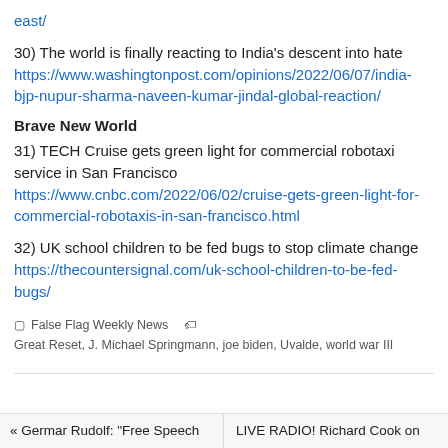east/
30) The world is finally reacting to India's descent into hate
https://www.washingtonpost.com/opinions/2022/06/07/india-bjp-nupur-sharma-naveen-kumar-jindal-global-reaction/
Brave New World
31) TECH Cruise gets green light for commercial robotaxi service in San Francisco
https://www.cnbc.com/2022/06/02/cruise-gets-green-light-for-commercial-robotaxis-in-san-francisco.html
32) UK school children to be fed bugs to stop climate change
https://thecountersignal.com/uk-school-children-to-be-fed-bugs/
False Flag Weekly News   Great Reset, J. Michael Springmann, joe biden, Uvalde, world war III
« Germar Rudolf: "Free Speech    LIVE RADIO! Richard Cook on